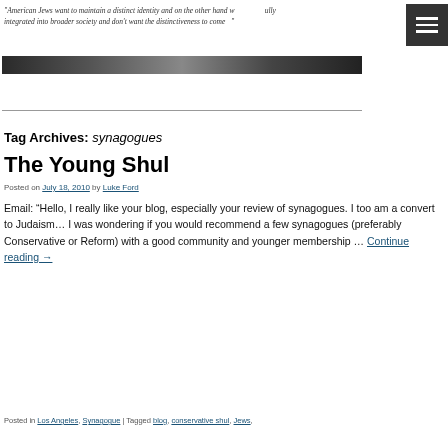"American Jews want to maintain a distinct identity and on the other hand want to be fully integrated into broader society and don't want the distinctiveness to come..."
[Figure (photo): A dark horizontal banner/hero image strip]
Tag Archives: synagogues
The Young Shul
Posted on July 18, 2010 by Luke Ford
Email: “Hello, I really like your blog, especially your review of synagogues. I too am a convert to Judaism… I was wondering if you would recommend a few synagogues (preferably Conservative or Reform) with a good community and younger membership … Continue reading →
Posted in Los Angeles, Synagogue | Tagged blog, conservative shul, Jews,